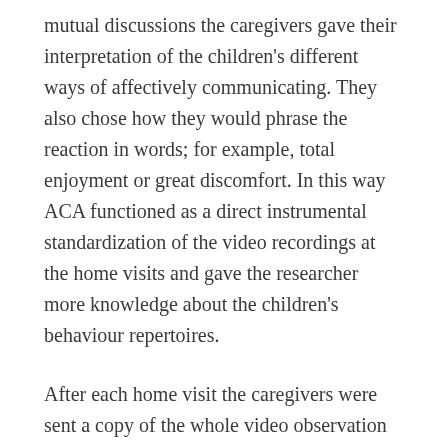mutual discussions the caregivers gave their interpretation of the children's different ways of affectively communicating. They also chose how they would phrase the reaction in words; for example, total enjoyment or great discomfort. In this way ACA functioned as a direct instrumental standardization of the video recordings at the home visits and gave the researcher more knowledge about the children's behaviour repertoires.
After each home visit the caregivers were sent a copy of the whole video observation on them and their child. After the sequences of typical interaction had been analysed the families received feedback about the findings.